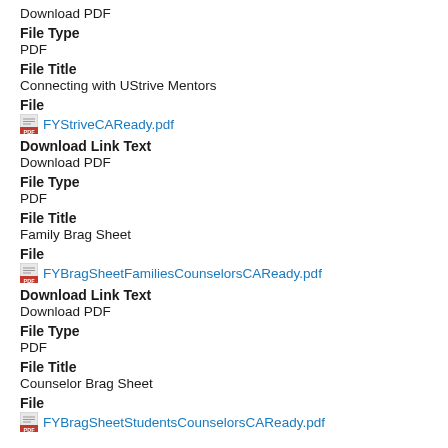Download PDF
File Type
PDF
File Title
Connecting with UStrive Mentors
File
FYStriveCAReady.pdf
Download Link Text
Download PDF
File Type
PDF
File Title
Family Brag Sheet
File
FYBragSheetFamiliesCounselorsCAReady.pdf
Download Link Text
Download PDF
File Type
PDF
File Title
Counselor Brag Sheet
File
FYBragSheetStudentsCounselorsCAReady.pdf